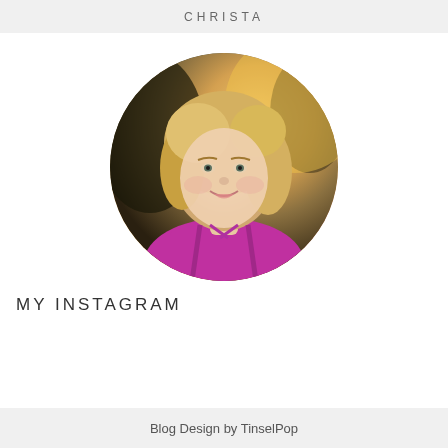CHRISTA
[Figure (photo): Circular cropped portrait photo of a smiling blonde woman wearing a pink/magenta athletic top, with a warm outdoor bokeh background.]
MY INSTAGRAM
Blog Design by TinselPop